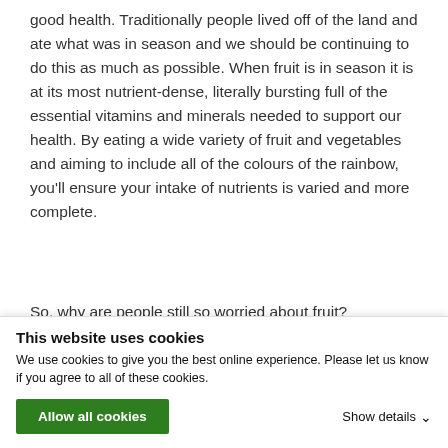good health. Traditionally people lived off of the land and ate what was in season and we should be continuing to do this as much as possible. When fruit is in season it is at its most nutrient-dense, literally bursting full of the essential vitamins and minerals needed to support our health. By eating a wide variety of fruit and vegetables and aiming to include all of the colours of the rainbow, you'll ensure your intake of nutrients is varied and more complete.
So, why are people still so worried about fruit?
What's the truth about fruit sugar?
This website uses cookies
We use cookies to give you the best online experience. Please let us know if you agree to all of these cookies.